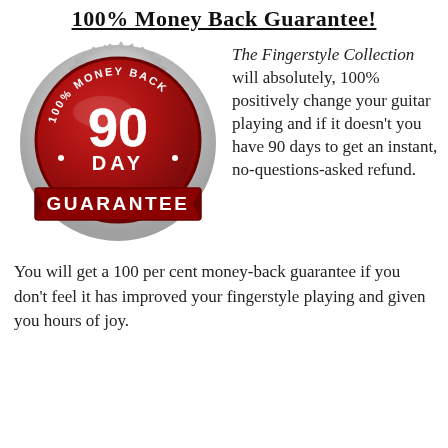100% Money Back Guarantee!
[Figure (illustration): Red 90-day 100% money back guarantee seal/badge with silver serrated edge]
The Fingerstyle Collection will absolutely, 100% positively change your guitar playing and if it doesn't you have 90 days to get an instant, no-questions-asked refund.
You will get a 100 per cent money-back guarantee if you don't feel it has improved your fingerstyle playing and given you hours of joy.